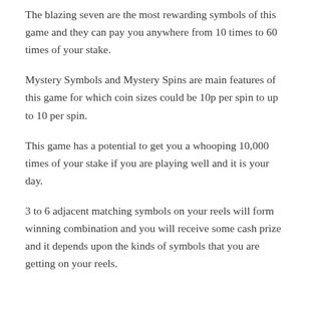The blazing seven are the most rewarding symbols of this game and they can pay you anywhere from 10 times to 60 times of your stake.
Mystery Symbols and Mystery Spins are main features of this game for which coin sizes could be 10p per spin to up to 10 per spin.
This game has a potential to get you a whooping 10,000 times of your stake if you are playing well and it is your day.
3 to 6 adjacent matching symbols on your reels will form winning combination and you will receive some cash prize and it depends upon the kinds of symbols that you are getting on your reels.